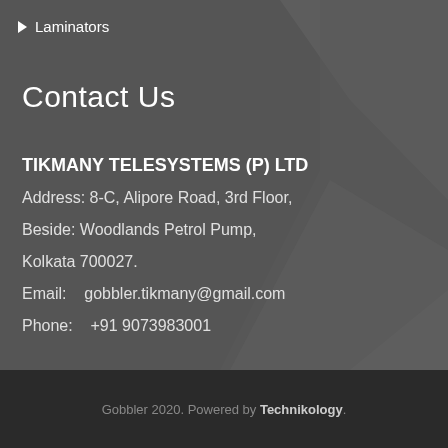Laminators
Contact Us
TIKMANY TELESYSTEMS (P) LTD
Address: 8-C, Alipore Road, 3rd Floor,
Beside: Woodlands Petrol Pump,
Kolkata 700027.
Email:   gobbler.tikmany@gmail.com
Phone:   +91 9073983001
Gobbler 2020. Powered by Technikology.